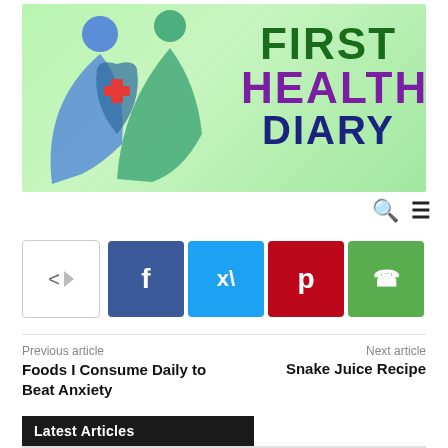[Figure (logo): First Health Diary logo with green background, stylized human figures, red cross symbol, and text reading FIRST HEALTH DIARY]
Previous article
Foods I Consume Daily to Beat Anxiety
Next article
Snake Juice Recipe
Latest Articles